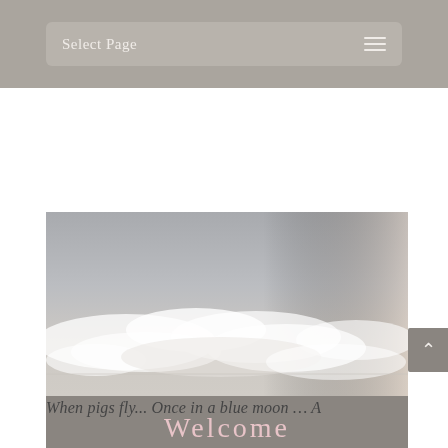Select Page
[Figure (photo): A wide landscape photo showing a cloudy grey sky with white clouds near the horizon, with a grey banner below reading 'Welcome' in pink text.]
Welcome
When pigs fly... Once in a blue moon … A